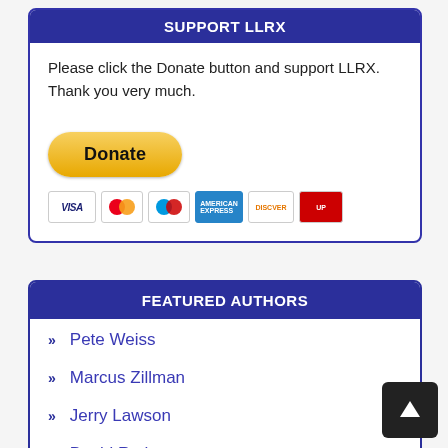SUPPORT LLRX
Please click the Donate button and support LLRX. Thank you very much.
[Figure (other): PayPal Donate button with payment card icons (Visa, Mastercard, Maestro, American Express, Discover, UnionPay)]
FEATURED AUTHORS
Pete Weiss
Marcus Zillman
Jerry Lawson
David Rothman
Ken Strutin